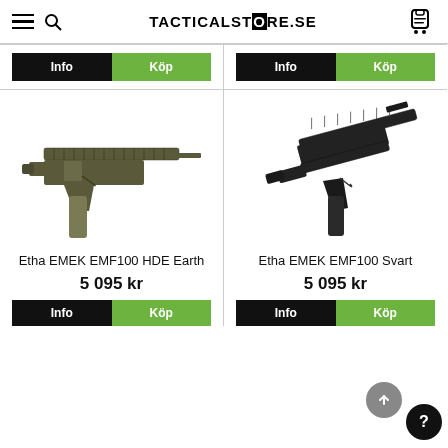TACTICALSTORE.SE
[Figure (photo): Etha EMEK EMF100 HDE Earth airsoft gun in olive/earth camouflage color]
Etha EMEK EMF100 HDE Earth
5 095 kr
[Figure (photo): Etha EMEK EMF100 Svart airsoft gun in black color]
Etha EMEK EMF100 Svart
5 095 kr